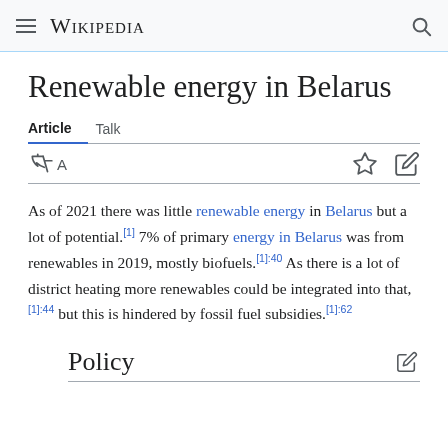≡  WIKIPEDIA  🔍
Renewable energy in Belarus
Article   Talk
As of 2021 there was little renewable energy in Belarus but a lot of potential.[1] 7% of primary energy in Belarus was from renewables in 2019, mostly biofuels.[1]:40 As there is a lot of district heating more renewables could be integrated into that,[1]:44 but this is hindered by fossil fuel subsidies.[1]:62
Policy